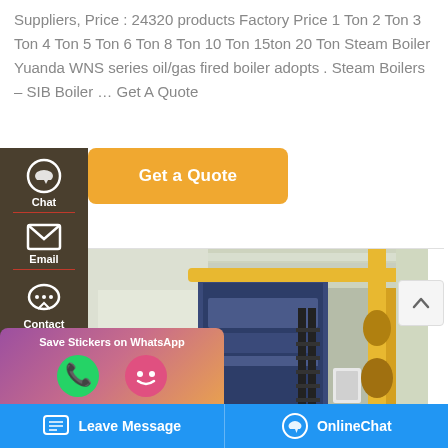Suppliers, Price : 24320 products Factory Price 1 Ton 2 Ton 3 Ton 4 Ton 5 Ton 6 Ton 8 Ton 10 Ton 15ton 20 Ton Steam Boiler Yuanda WNS series oil/gas fired boiler adopts . Steam Boilers – SIB Boiler … Get A Quote
[Figure (screenshot): Get a Quote button (amber/gold color) with chat icon on dark brown sidebar]
[Figure (photo): Industrial boiler facility interior showing large blue boiler unit with yellow gas pipes and metal staircase]
[Figure (screenshot): WhatsApp sticker save overlay with green phone and emoji icons on gradient purple-orange background]
[Figure (screenshot): Scroll to top arrow button (light grey box, top right)]
Leave Message
OnlineChat